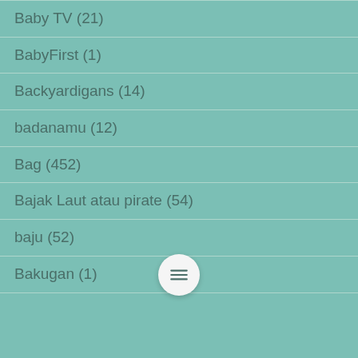Baby TV (21)
BabyFirst (1)
Backyardigans (14)
badanamu (12)
Bag (452)
Bajak Laut atau pirate (54)
baju (52)
Bakugan (1)